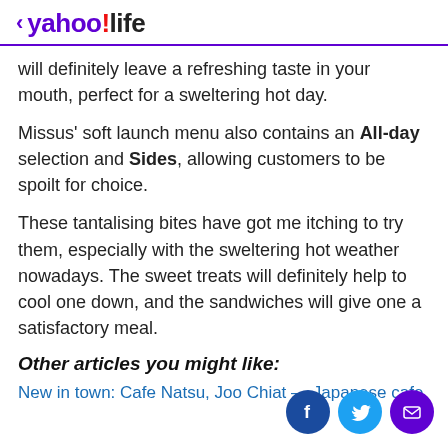< yahoo!life
will definitely leave a refreshing taste in your mouth, perfect for a sweltering hot day.
Missus' soft launch menu also contains an All-day selection and Sides, allowing customers to be spoilt for choice.
These tantalising bites have got me itching to try them, especially with the sweltering hot weather nowadays. The sweet treats will definitely help to cool one down, and the sandwiches will give one a satisfactory meal.
Other articles you might like:
New in town: Cafe Natsu, Joo Chiat — Japanese cafe